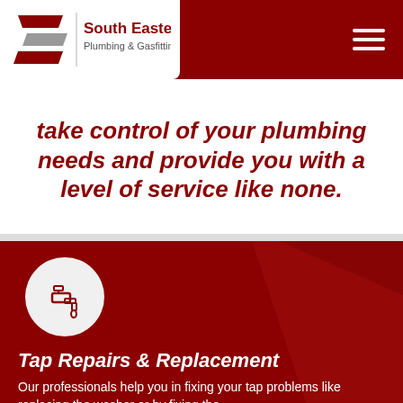South Eastern Plumbing & Gasfitting
take control of your plumbing needs and provide you with a level of service like none.
[Figure (illustration): Tap/faucet icon inside a light grey circle on a dark red background]
Tap Repairs & Replacement
Our professionals help you in fixing your tap problems like replacing the washer or by fixing the